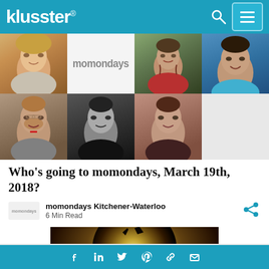klusster® [search] [menu]
[Figure (photo): Collage of six headshots and momondays logo: blonde woman, momondays logo text, bearded man in red shirt, young man smiling, older bearded man in suit, black and white woman, woman in dark top]
Who's going to momondays, March 19th, 2018?
momondays Kitchener-Waterloo
6 Min Read
[Figure (photo): Dark atmospheric photo of a full moon with a bat silhouette and bare tree branches against a dark sky]
Facebook LinkedIn Twitter Pinterest Link Email